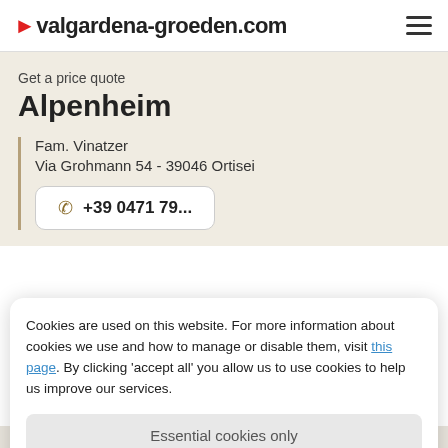►valgardena-groeden.com
Get a price quote
Alpenheim
Fam. Vinatzer
Via Grohmann 54 - 39046 Ortisei
+39 0471 79...
Cookies are used on this website. For more information about cookies we use and how to manage or disable them, visit this page. By clicking 'accept all' you allow us to use cookies to help us improve our services.
Essential cookies only
Accept all